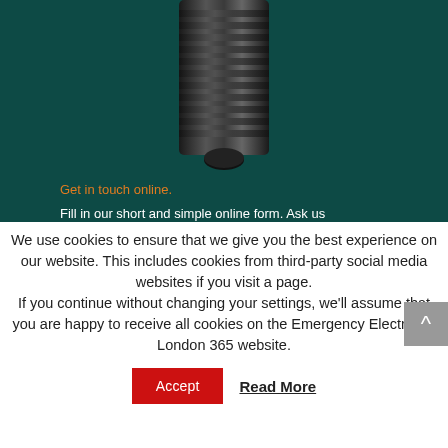[Figure (photo): Close-up photo of a dark/black Edison screw lightbulb base against a dark teal background]
Get in touch online.
Fill in our short and simple online form. Ask us
We use cookies to ensure that we give you the best experience on our website. This includes cookies from third-party social media websites if you visit a page. If you continue without changing your settings, we'll assume that you are happy to receive all cookies on the Emergency Electrician London 365 website.
Accept
Read More